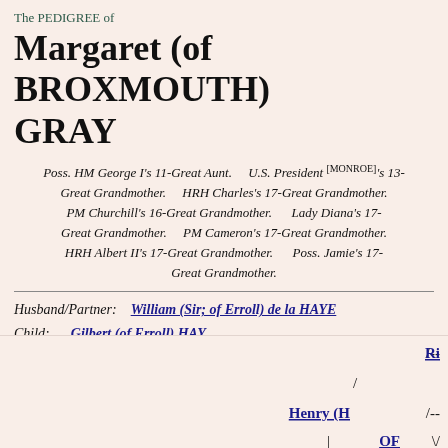The PEDIGREE of
Margaret (of BROXMOUTH) GRAY
Poss. HM George I's 11-Great Aunt. U.S. President [MONROE]'s 13-Great Grandmother. HRH Charles's 17-Great Grandmother. PM Churchill's 16-Great Grandmother. Lady Diana's 17-Great Grandmother. PM Cameron's 17-Great Grandmother. HRH Albert II's 17-Great Grandmother. Poss. Jamie's 17-Great Grandmother.
Husband/Partner: William (Sir; of Erroll) de la HAYE
Child: Gilbert (of Erroll) HAY
[Figure (organizational-chart): Partial pedigree tree showing ancestors with /-- Ri... at top, then /-- Henry (H... below, and \/ OF... at bottom right, with connecting lines.]